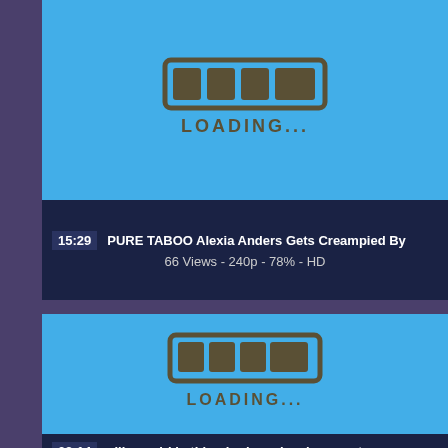[Figure (screenshot): Blue loading placeholder for video thumbnail with a loading bar icon and 'LOADING...' text]
15:29  PURE TABOO Alexia Anders Gets Creampied By
66 Views - 240p - 78% - HD
[Figure (screenshot): Blue loading placeholder for video thumbnail with a loading bar icon and 'LOADING...' text]
03:14  village girl bathing in river showing assets